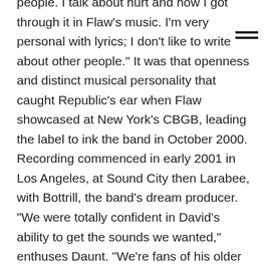people. I talk about hurt and how I got through it in Flaw's music. I'm very personal with lyrics; I don't like to write about other people." It was that openness and distinct musical personality that caught Republic's ear when Flaw showcased at New York's CBGB, leading the label to ink the band in October 2000. Recording commenced in early 2001 in Los Angeles, at Sound City then Larabee, with Bottrill, the band's dream producer. "We were totally confident in David's ability to get the sounds we wanted," enthuses Daunt. "We're fans of his older work with Peter Gabriel and Aenima, by TOOL encompasses every sound we have in our arsenal. He had a good feeling for our vision." That vision is well honed, and as with everything Flaw does,